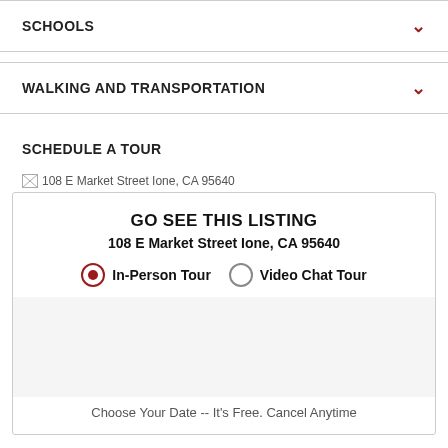SCHOOLS
WALKING AND TRANSPORTATION
SCHEDULE A TOUR
[Figure (other): Broken image placeholder with alt text: 108 E Market Street Ione, CA 95640]
GO SEE THIS LISTING
108 E Market Street Ione, CA 95640
In-Person Tour  Video Chat Tour
Choose Your Date -- It's Free. Cancel Anytime